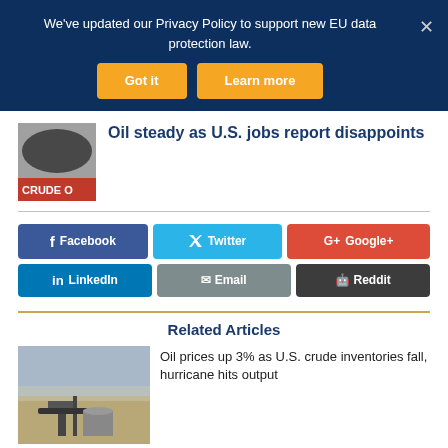We've updated our Privacy Policy to support new EU data protection law.
Got it | Learn more
Oil steady as U.S. jobs report disappoints
Facebook | Twitter | Google+ | LinkedIn | Email | Reddit
Related Articles
Oil prices up 3% as U.S. crude inventories fall, hurricane hits output